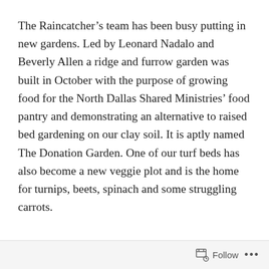The Raincatcher’s team has been busy putting in new gardens. Led by Leonard Nadalo and Beverly Allen a ridge and furrow garden was built in October with the purpose of growing food for the North Dallas Shared Ministries’ food pantry and demonstrating an alternative to raised bed gardening on our clay soil. It is aptly named The Donation Garden. One of our turf beds has also become a new veggie plot and is the home for turnips, beets, spinach and some struggling carrots.
Follow ...